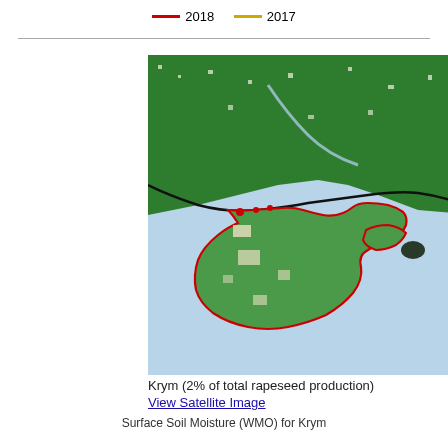[Figure (other): Legend showing 2018 (red line) and 2017 (yellow/gold line)]
[Figure (map): Satellite-derived crop map of Krym (Crimea) region showing rapeseed areas in green with red boundary outline, surrounded by blue sea areas]
Krym (2% of total rapeseed production)
View Satellite Image
[Figure (line-chart): Line chart showing surface soil moisture for Krym, with 2018 (red) and 2017 (yellow) lines. Y-axis shows values from 20 to 30, with a peak around 24-25 visible for 2018.]